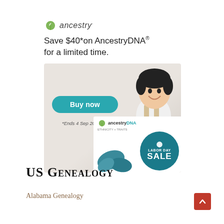[Figure (illustration): Ancestry.com advertisement banner showing a man smiling at a laptop, AncestryDNA product box with Labor Day Sale badge, Buy Now button, and text 'Save $40* on AncestryDNA® for a limited time. *Ends 4 Sep 2022.']
US Genealogy
Alabama Genealogy